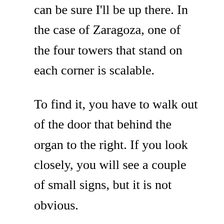can be sure I'll be up there. In the case of Zaragoza, one of the four towers that stand on each corner is scalable.
To find it, you have to walk out of the door that behind the organ to the right. If you look closely, you will see a couple of small signs, but it is not obvious.
Once you are outside turn left, and you'll find a small passageway with a window at the end where you have to pay a €3 entrance fee.